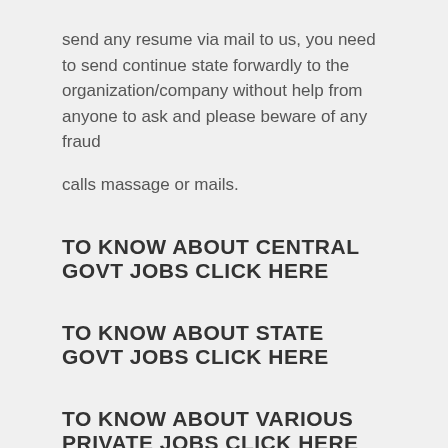send any resume via mail to us, you need to send continue state forwardly to the organization/company without help from anyone to ask and please beware of any fraud calls massage or mails.
TO KNOW ABOUT CENTRAL GOVT JOBS CLICK HERE
TO KNOW ABOUT STATE GOVT JOBS CLICK HERE
TO KNOW ABOUT VARIOUS PRIVATE JOBS CLICK HERE
Related Jobs